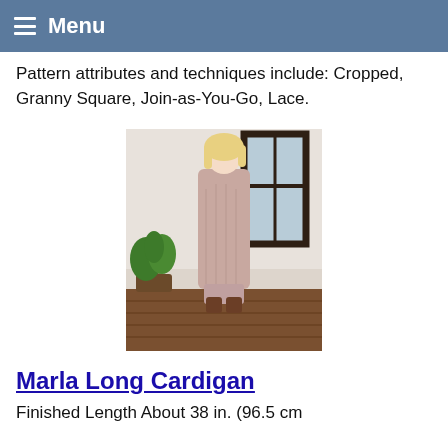Menu
Pattern attributes and techniques include: Cropped, Granny Square, Join-as-You-Go, Lace.
[Figure (photo): A woman wearing a long pink/mauve crochet cardigan standing in front of a window with a plant and wooden floor in the background.]
Marla Long Cardigan
Finished Length About 38 in. (96.5 cm